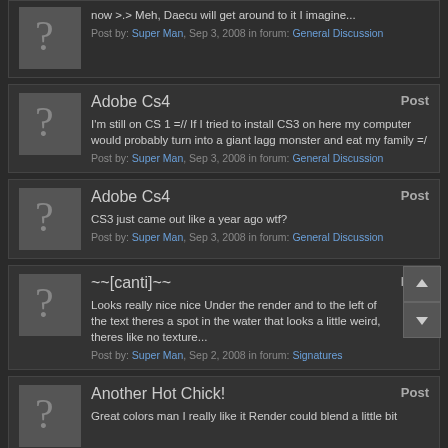now >.> Meh, Daecu will get around to it I imagine...
Post by: Super Man, Sep 3, 2008 in forum: General Discussion
Adobe Cs4
Post
I'm still on CS 1 =// If I tried to install CS3 on here my computer would probably turn into a giant lagg monster and eat my family =/
Post by: Super Man, Sep 3, 2008 in forum: General Discussion
Adobe Cs4
Post
CS3 just came out like a year ago wtf?
Post by: Super Man, Sep 3, 2008 in forum: General Discussion
~~[canti]~~
Post
Looks really nice nice Under the render and to the left of the text theres a spot in the water that looks a little weird, theres like no texture...
Post by: Super Man, Sep 2, 2008 in forum: Signatures
Another Hot Chick!
Post
Great colors man I really like it Render could blend a little bit